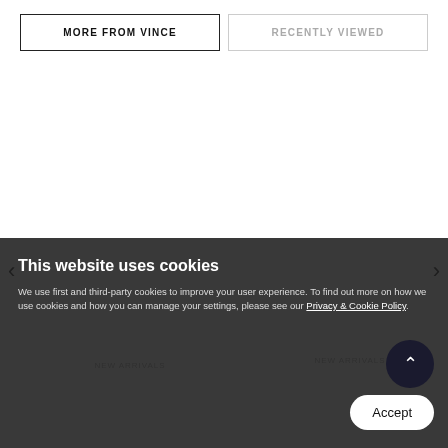MORE FROM VINCE
RECENTLY VIEWED
VINCE
Shaker Rib Turtleneck In Black
£495.00
NEW ARRIVALS
VINCE
Band Collar Blouse In Glass
£325.00
NEW ARRIVALS
This website uses cookies
We use first and third-party cookies to improve your user experience. To find out more on how we use cookies and how you can manage your settings, please see our Privacy & Cookie Policy.
Accept